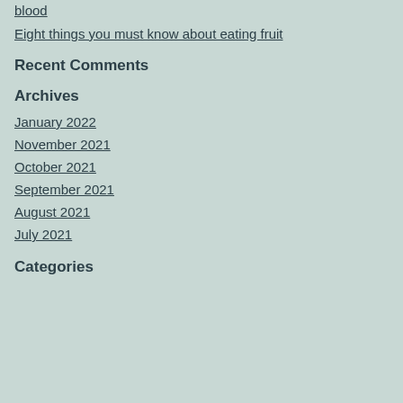blood
Eight things you must know about eating fruit
Recent Comments
Archives
January 2022
November 2021
October 2021
September 2021
August 2021
July 2021
Categories